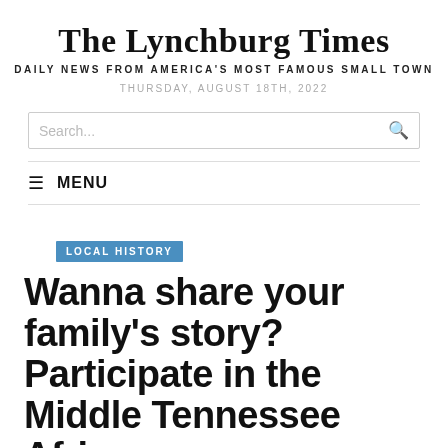The Lynchburg Times
DAILY NEWS FROM AMERICA'S MOST FAMOUS SMALL TOWN
THURSDAY, AUGUST 18TH, 2022
Search...
MENU
LOCAL HISTORY
Wanna share your family's story? Participate in the Middle Tennessee African